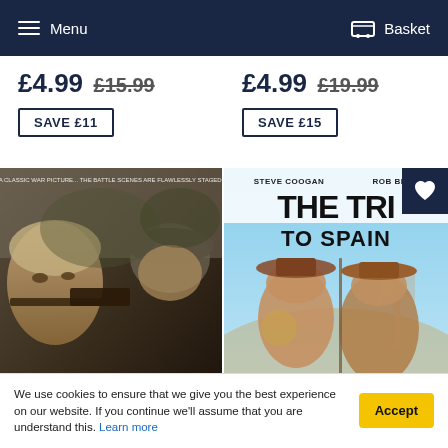Menu | Basket
£4.99 £15.99
£4.99 £19.99
SAVE £11
SAVE £15
[Figure (photo): Movie poster for Ambush 1941 - war film showing soldiers with rifles, text 'A classic war picture... the battle scenes are flawlessly staged' at top, large title AMBUSH 1941 at bottom]
[Figure (photo): Movie poster for The Trip to Spain - Steve Coogan and Rob Brydon comedy, showing two men dressed as Don Quixote characters, title THE TRIP TO SPAIN]
We use cookies to ensure that we give you the best experience on our website. If you continue we'll assume that you are understand this. Learn more